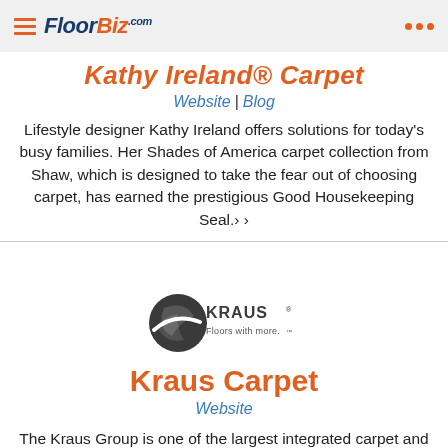FloorBiz.com
Kathy Ireland® Carpet
Website | Blog
Lifestyle designer Kathy Ireland offers solutions for today's busy families. Her Shades of America carpet collection from Shaw, which is designed to take the fear out of choosing carpet, has earned the prestigious Good Housekeeping Seal.› ›
[Figure (logo): Kraus Floors with more. logo — circular swoosh with KRAUS text and tagline 'Floors with more.']
Kraus Carpet
Website
The Kraus Group is one of the largest integrated carpet and flooring manufacturers and distributors in North America with